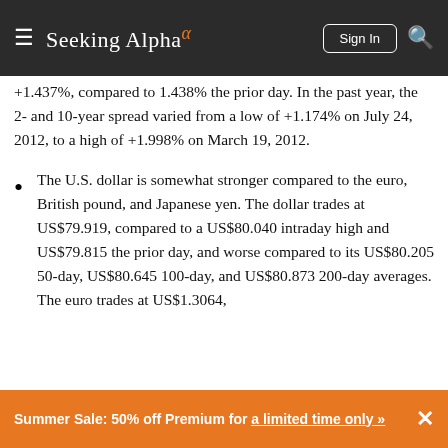Seeking Alpha
+1.437%, compared to 1.438% the prior day. In the past year, the 2- and 10-year spread varied from a low of +1.174% on July 24, 2012, to a high of +1.998% on March 19, 2012.
The U.S. dollar is somewhat stronger compared to the euro, British pound, and Japanese yen. The dollar trades at US$79.919, compared to a US$80.040 intraday high and US$79.815 the prior day, and worse compared to its US$80.205 50-day, US$80.645 100-day, and US$80.873 200-day averages. The euro trades at US$1.3064,
Summer Sale: 50% off Premium for a limited time only »